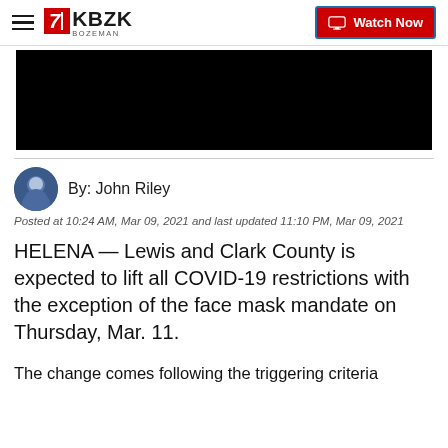KBZK BOZEMAN — Watch Now
[Figure (screenshot): Black video player thumbnail area]
By: John Riley
Posted at 10:24 AM, Mar 09, 2021 and last updated 11:10 PM, Mar 09, 2021
HELENA — Lewis and Clark County is expected to lift all COVID-19 restrictions with the exception of the face mask mandate on Thursday, Mar. 11.
The change comes following the triggering criteria